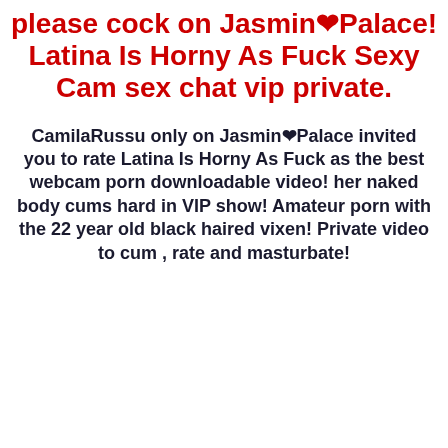please cock on Jasmin❤Palace! Latina Is Horny As Fuck Sexy Cam sex chat vip private.
CamilaRussu only on Jasmin❤Palace invited you to rate Latina Is Horny As Fuck as the best webcam porn downloadable video! her naked body cums hard in VIP show! Amateur porn with the 22 year old black haired vixen! Private video to cum , rate and masturbate!